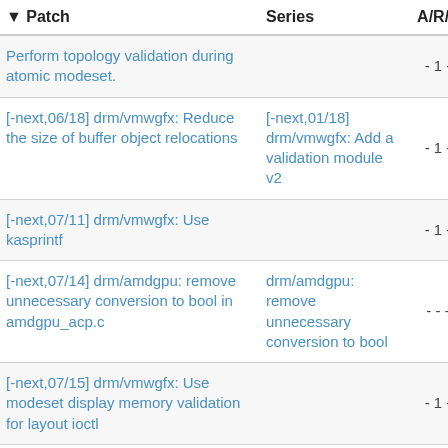| Patch | Series | A/R/T | S/W/N |
| --- | --- | --- | --- |
| Perform topology validation during atomic modeset. |  | - 1 - | - - - |
| [-next,06/18] drm/vmwgfx: Reduce the size of buffer object relocations | [-next,01/18] drm/vmwgfx: Add a validation module v2 | - 1 - | - - - |
| [-next,07/11] drm/vmwgfx: Use kasprintf |  | - 1 - | - - - |
| [-next,07/14] drm/amdgpu: remove unnecessary conversion to bool in amdgpu_acp.c | drm/amdgpu: remove unnecessary conversion to bool | - - - | - - - |
| [-next,07/15] drm/vmwgfx: Use modeset display memory validation for layout ioctl |  | - 1 - | - - - |
| [-next,07/18] drm/vmwgfx: Replace unconditional mutex unlocked warnings with lockdep counterpart | [-next,01/18] drm/vmwgfx: Add a validation module v2 | - 2 - | - - - |
| [-next,07/26] gpu: Use |  | - - - | - - - |